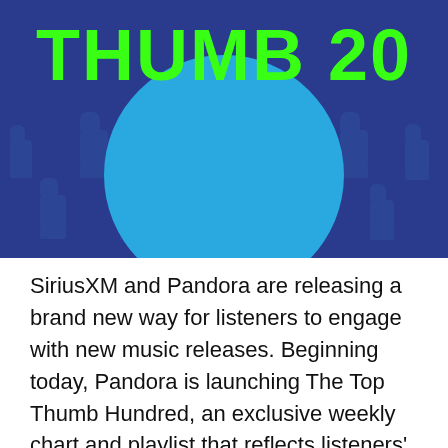[Figure (illustration): Decorative banner image with dark blue background covered in repeating thumbs-up icons in a darker blue/teal. A large bright blue circle is centered in the upper portion. Bold lime green text reads 'THUMB 20' across the top of the image.]
SiriusXM and Pandora are releasing a brand new way for listeners to engage with new music releases. Beginning today, Pandora is launching The Top Thumb Hundred, an exclusive weekly chart and playlist that reflects listeners' favorite recent discoveries by capturing the 100 most-thumbed up new releases on the platform. The